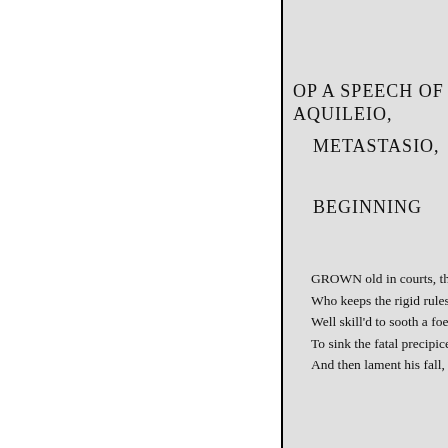OP A SPEECH OF AQUILEIO,
    METASTASIO,

    BEGINNING
GROWN old in courts, thou
Who keeps the rigid rules o
Well skill'd to sooth a foe w
To sink the fatal precipice b
And then lament his fall, wi
s The character of Cali, in Irene
court.-Ed.
Open to all, true only to thy
Thou know'st those arts, wh
Which aggravate a fault, wi